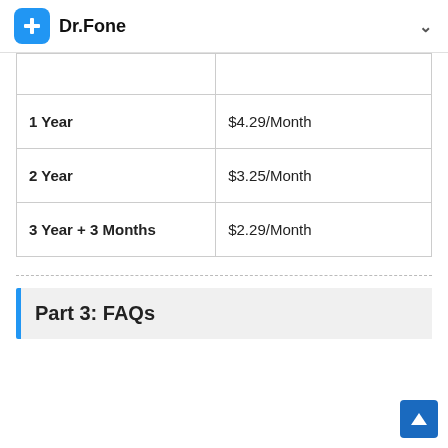Dr.Fone
|  |  |
| 1 Year | $4.29/Month |
| 2 Year | $3.25/Month |
| 3 Year + 3 Months | $2.29/Month |
Part 3: FAQs